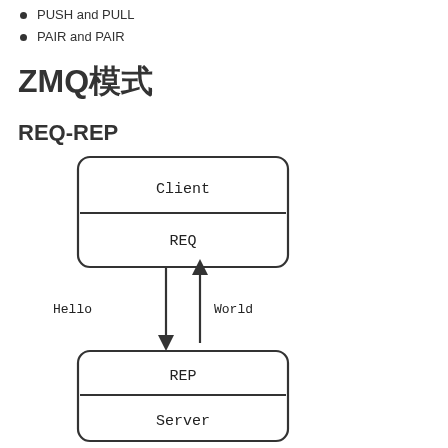PUSH and PULL
PAIR and PAIR
ZMQ模式
REQ-REP
[Figure (flowchart): REQ-REP ZMQ pattern diagram showing Client box with REQ socket connected via arrows labeled Hello (downward) and World (upward) to a Server box with REP socket]